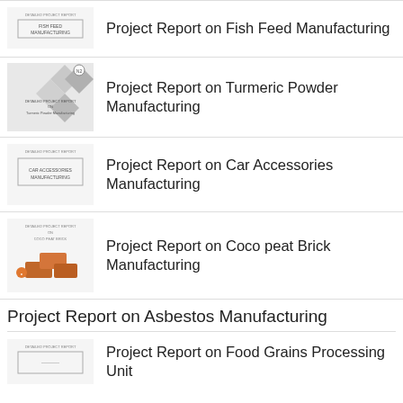Project Report on Fish Feed Manufacturing
Project Report on Turmeric Powder Manufacturing
Project Report on Car Accessories Manufacturing
Project Report on Coco peat Brick Manufacturing
Project Report on Asbestos Manufacturing
Project Report on Food Grains Processing Unit